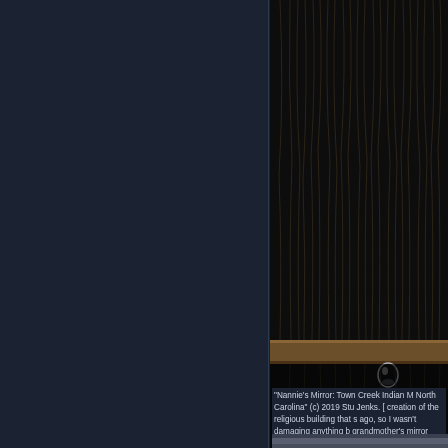[Figure (photo): Dark close-up photograph showing hanging ropes or fibers with a water droplet or glass sphere visible, against a dark background with a horizontal wooden beam or pole.]
"Nannie's Mirror: Town Creek Indian M North Carolina" (c) 2019 Stu Jenks. [ creation of the religious building that s ago, so I wasn't damaging anything b grandmother's mirror within its ropes. to visit, with the creek over there, the that mound and the woods all around are in the area.]
[Figure (photo): Partial view of a second photograph at the bottom of the page, showing a muted/grey outdoor scene, partially cut off.]